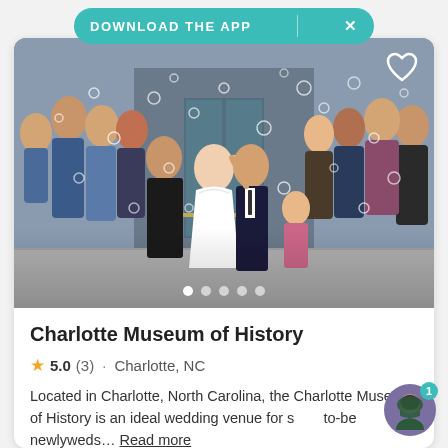DOWNLOAD THE APP
[Figure (photo): Wedding photo showing a bride and groom exiting a building with guests blowing bubbles around them at the Charlotte Museum of History]
Charlotte Museum of History
5.0 (3) · Charlotte, NC
Located in Charlotte, North Carolina, the Charlotte Museum of History is an ideal wedding venue for soon-to-be newlyweds… Read more